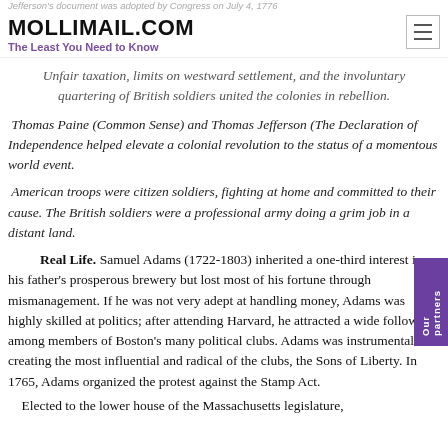Jefferson's document was adopted by Congress on July 4, 1776 | MOLLIMAIL.COM | The Least You Need to Know
Unfair taxation, limits on westward settlement, and the involuntary quartering of British soldiers united the colonies in rebellion.
Thomas Paine (Common Sense) and Thomas Jefferson (The Declaration of Independence helped elevate a colonial revolution to the status of a momentous world event.
American troops were citizen soldiers, fighting at home and committed to their cause. The British soldiers were a professional army doing a grim job in a distant land.
Real Life. Samuel Adams (1722-1803) inherited a one-third interest in his father's prosperous brewery but lost most of his fortune through mismanagement. If he was not very adept at handling money, Adams was highly skilled at politics; after attending Harvard, he attracted a wide following among members of Boston's many political clubs. Adams was instrumental in creating the most influential and radical of the clubs, the Sons of Liberty. In 1765, Adams organized the protest against the Stamp Act.
Elected to the lower house of the Massachusetts legislature,